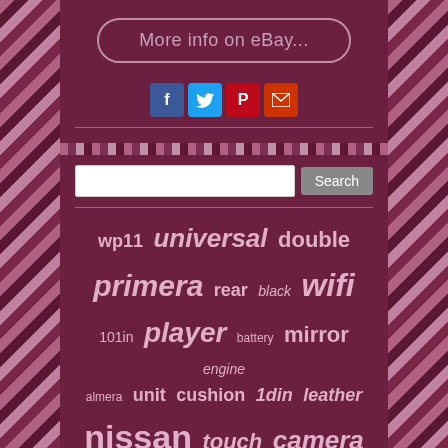[Figure (screenshot): A button with rounded borders reading 'More info on eBay...' on a dark maroon background]
[Figure (infographic): Social media share icons: Facebook (blue F), Twitter (blue bird), Pinterest (red P), Email (red envelope)]
[Figure (infographic): Tag cloud with words: wp11, universal, double, primera, rear, black, wifi, 101in, player, battery, mirror, engine, almera, unit, cushion, 1din, leather, nissan, touch, camera, navi, front, infiniti, full, head, seat, stereo]